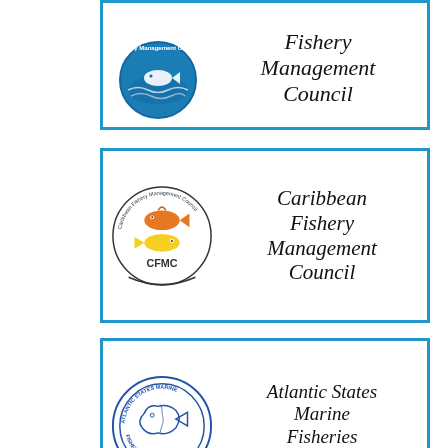[Figure (logo): Fishery Management Council circular logo with fish and ocean waves, blue border card, partially cut off at top]
[Figure (logo): Caribbean Fishery Management Council (CFMC) logo with orange and yellow fish, circular border card]
[Figure (logo): Atlantic States Marine Fisheries Commission circular seal with fish outline, blue border card]
[Figure (logo): Pacific States Marine Fisheries Commission circular seal with red fish, blue border card]